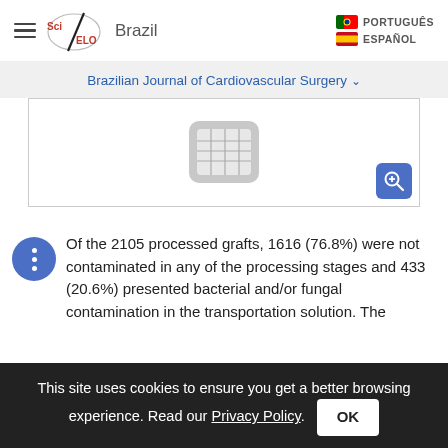SciELO Brazil | PORTUGUÊS | ESPAÑOL
Brazilian Journal of Cardiovascular Surgery
[Figure (table-as-image): Thumbnail of a data table with a zoom/magnify button overlay]
Of the 2105 processed grafts, 1616 (76.8%) were not contaminated in any of the processing stages and 433 (20.6%) presented bacterial and/or fungal contamination in the transportation solution. The
This site uses cookies to ensure you get a better browsing experience. Read our Privacy Policy.